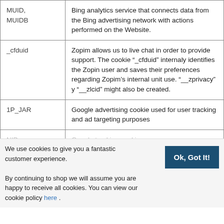| Cookie | Description |
| --- | --- |
| MUID, MUIDB | Bing analytics service that connects data from the Bing advertising network with actions performed on the Website. |
| _cfduid | Zopim allows us to live chat in order to provide support. The cookie “_cfduid” internaly identifies the Zopin user and saves their preferences regarding Zopim’s internal unit use. “__zprivacy” y “__zlcid” might also be created. |
| 1P_JAR | Google advertising cookie used for user tracking and ad targeting purposes |
| NID | Google tracking cookie |
|  | advertising and for re-targeting, optimization, and reporting of online adverts on Facebook |
We use cookies to give you a fantastic customer experience. By continuing to shop we will assume you are happy to receive all cookies. You can view our cookie policy here .